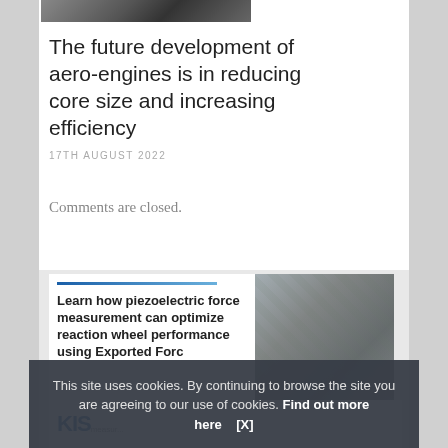[Figure (photo): Partial view of a dark-toned engineering/aircraft related photograph at the top of the page]
The future development of aero-engines is in reducing core size and increasing efficiency
17TH AUGUST 2022
Comments are closed.
[Figure (infographic): Advertisement banner for Kistler with blue accent line, bold text reading 'Learn how piezoelectric force measurement can optimize reaction wheel performance using Exported Forc...' and a photo of mechanical components (green/silver lattice structure). Logo shows 'KIS' and 'measur...' text at bottom.]
This site uses cookies. By continuing to browse the site you are agreeing to our use of cookies. Find out more here    [X]